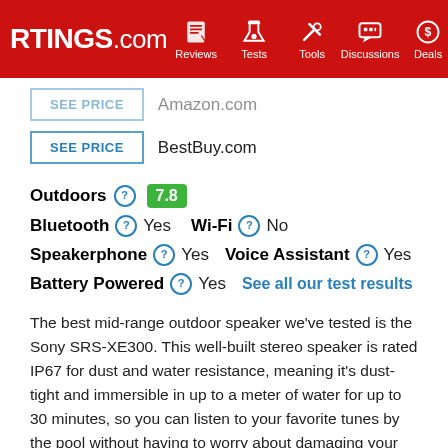RTINGS.com — Reviews, Tests, Tools, Discussions, Deals
SEE PRICE   Amazon.com
SEE PRICE   BestBuy.com
Outdoors 7.8 Bluetooth Yes  Wi-Fi No  Speakerphone Yes  Voice Assistant Yes  Battery Powered Yes  See all our test results
The best mid-range outdoor speaker we've tested is the Sony SRS-XE300. This well-built stereo speaker is rated IP67 for dust and water resistance, meaning it's dust-tight and immersible in up to a meter of water for up to 30 minutes, so you can listen to your favorite tunes by the pool without having to worry about damaging your speaker. It also has a long-lasting battery life of almost 17